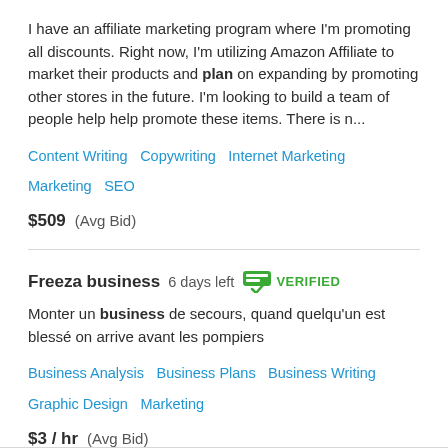I have an affiliate marketing program where I'm promoting all discounts. Right now, I'm utilizing Amazon Affiliate to market their products and plan on expanding by promoting other stores in the future. I'm looking to build a team of people help help promote these items. There is n...
Content Writing   Copywriting   Internet Marketing   Marketing   SEO
$509  (Avg Bid)
Freeza business  6 days left  VERIFIED
Monter un business de secours, quand quelqu'un est blessé on arrive avant les pompiers
Business Analysis   Business Plans   Business Writing   Graphic Design   Marketing
$3 / hr  (Avg Bid)